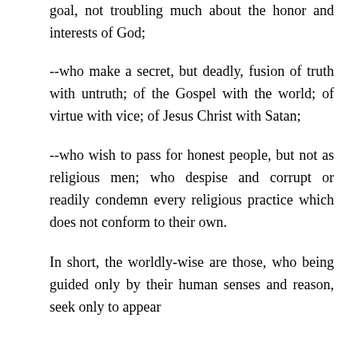goal, not troubling much about the honor and interests of God;
--who make a secret, but deadly, fusion of truth with untruth; of the Gospel with the world; of virtue with vice; of Jesus Christ with Satan;
--who wish to pass for honest people, but not as religious men; who despise and corrupt or readily condemn every religious practice which does not conform to their own.
In short, the worldly-wise are those, who being guided only by their human senses and reason, seek only to appear